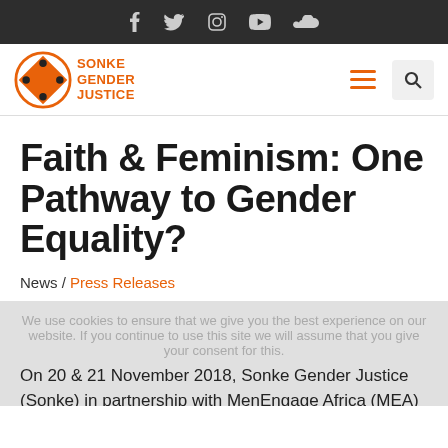Social media icons: Facebook, Twitter, Instagram, YouTube, SoundCloud
[Figure (logo): Sonke Gender Justice logo — orange circular emblem with dice-like dots and orange text SONKE GENDER JUSTICE]
Faith & Feminism: One Pathway to Gender Equality?
News / Press Releases
We use cookies to ensure that we give you the best experience on our website. If you continue to use this site we will assume that you give your consent for this.
On 20 & 21 November 2018, Sonke Gender Justice (Sonke) in partnership with MenEngage Africa (MEA) A…